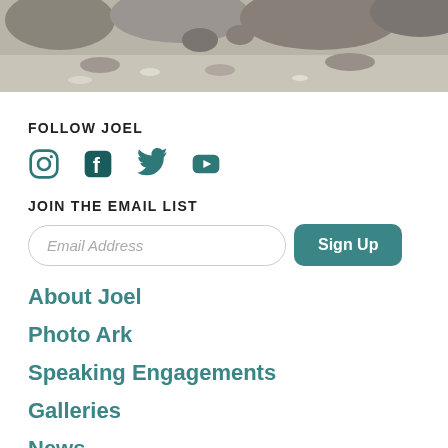[Figure (photo): Top photo strip showing rocks and what appears to be birds or wildlife in a rocky/sandy environment, grayscale tones]
FOLLOW JOEL
[Figure (infographic): Social media icons: Instagram, Facebook, Twitter, YouTube in teal/dark teal color]
JOIN THE EMAIL LIST
Email Address input field with Sign Up button
About Joel
Photo Ark
Speaking Engagements
Galleries
News